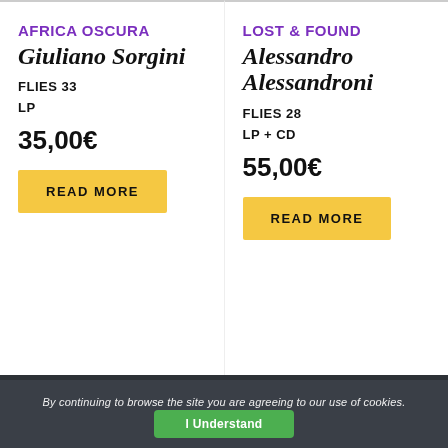AFRICA OSCURA
Giuliano Sorgini
FLIES 33
LP
35,00€
READ MORE
LOST & FOUND
Alessandro Alessandroni
FLIES 28
LP + CD
55,00€
READ MORE
FOUR FLIES SRLS | Partita Iva:
By continuing to browse the site you are agreeing to our use of cookies.
I Understand